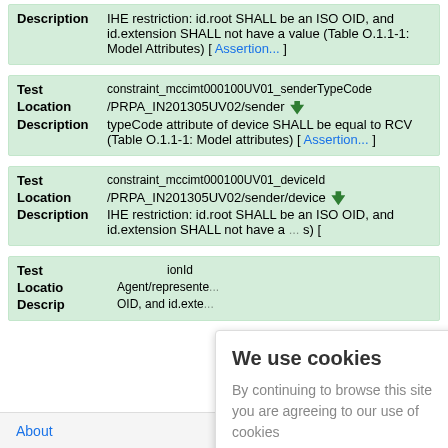| Field | Value |
| --- | --- |
| Description | IHE restriction: id.root SHALL be an ISO OID, and id.extension SHALL not have a value (Table O.1.1-1: Model Attributes) [ Assertion... ] |
| Field | Value |
| --- | --- |
| Test | constraint_mccimt000100UV01_senderTypeCode |
| Location | /PRPA_IN201305UV02/sender |
| Description | typeCode attribute of device SHALL be equal to RCV (Table O.1.1-1: Model attributes) [ Assertion... ] |
| Field | Value |
| --- | --- |
| Test | constraint_mccimt000100UV01_deviceId |
| Location | /PRPA_IN201305UV02/sender/device |
| Description | IHE restriction: id.root SHALL be an ISO OID, and id.extension SHALL not have a value (Table O.1.1-1: Model Attributes) [ ... ] |
| Field | Value |
| --- | --- |
| Test | ...ionId |
| Location | ...Agent/represente... |
| Description | ...OID, and id.exte... |
We use cookies
By continuing to browse this site you are agreeing to our use of cookies
Ok
About   Back to top   E